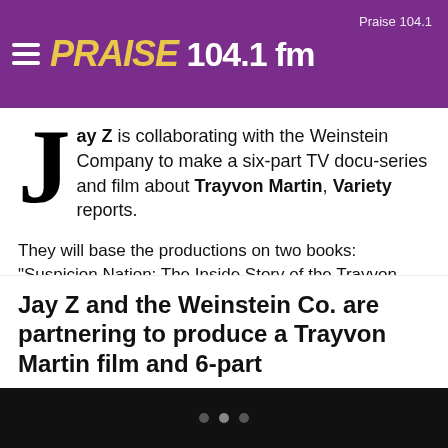Praise 104.1 fm
Jay Z is collaborating with the Weinstein Company to make a six-part TV docu-series and film about Trayvon Martin, Variety reports.
They will base the productions on two books: “Suspicion Nation: The Inside Story of the Trayvon Martin Injustice and Why We Continue to Repeat It” and “Rest in Power: The Enduring Life of Trayvon Martin.” The partners won rights to the books in a fiercely competitive bidding process, the outlet said.
Jay Z and the Weinstein Co. are partnering to produce a Trayvon Martin film and 6-part